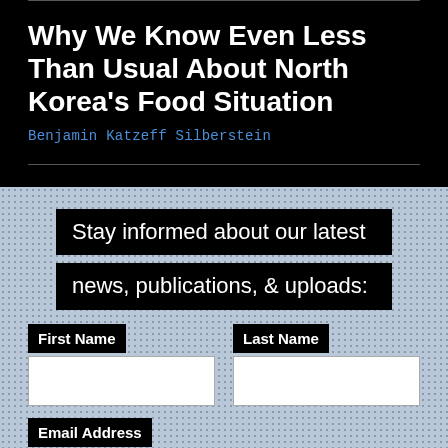Why We Know Even Less Than Usual About North Korea's Food Situation
Benjamin Katzeff Silberstein
Stay informed about our latest news, publications, & uploads:
First Name
Last Name
Email Address